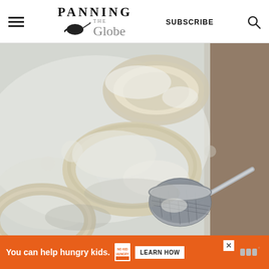PANNING THE Globe — SUBSCRIBE
[Figure (photo): Flour-dusted ring-shaped dough pieces on parchment paper with a powdered sugar sifter/strainer tool visible, baking preparation scene]
[Figure (other): Advertisement banner: 'You can help hungry kids. NO KID HUNGRY LEARN HOW' on orange background with close button]